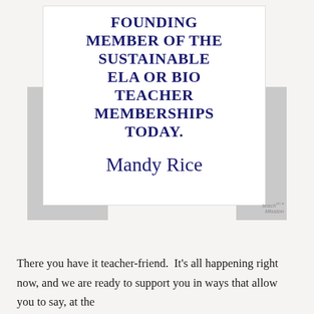[Figure (illustration): A promotional card image with dark navy bold text reading 'FOUNDING MEMBER OF THE SUSTAINABLE ELA OR BIO TEACHER MEMBERSHIPS TODAY.' with a cursive signature 'Mandy Rice' below, on a white card overlaid on gray shapes. A 'Teach on a Mission' watermark is in the bottom right corner.]
There you have it teacher-friend.  It's all happening right now, and we are ready to support you in ways that allow you to say, at the